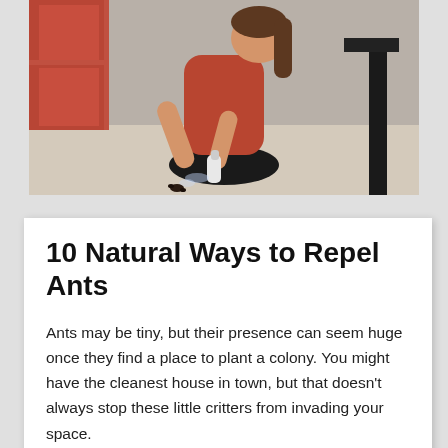[Figure (photo): A woman in a red top crouching on a floor holding a white spray bottle, spraying toward insects on the floor near a dark table leg. Kitchen or office setting in the background.]
10 Natural Ways to Repel Ants
Ants may be tiny, but their presence can seem huge once they find a place to plant a colony. You might have the cleanest house in town, but that doesn't always stop these little critters from invading your space.
If you discover ants in or around your home, there are